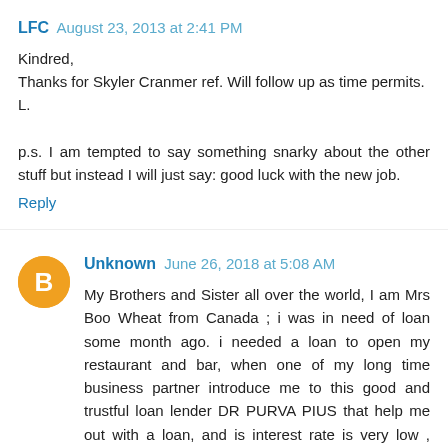LFC  August 23, 2013 at 2:41 PM
Kindred,
Thanks for Skyler Cranmer ref. Will follow up as time permits.
L.

p.s. I am tempted to say something snarky about the other stuff but instead I will just say: good luck with the new job.
Reply
Unknown  June 26, 2018 at 5:08 AM
My Brothers and Sister all over the world, I am Mrs Boo Wheat from Canada ; i was in need of loan some month ago. i needed a loan to open my restaurant and bar, when one of my long time business partner introduce me to this good and trustful loan lender DR PURVA PIUS that help me out with a loan, and is interest rate is very low , thank God today. I am now a successful business woman, and I became useful. In the life of others, I now hold a restaurant and bar. And about 30 workers, thank GOD for my life, I am...